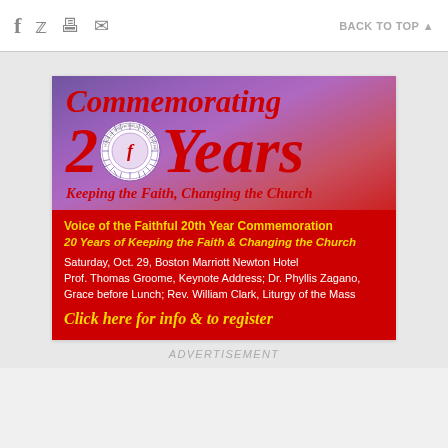f  [twitter] [print] [email]    BACK TO TOP ▲
[Figure (infographic): Advertisement for Voice of the Faithful 20th Year Commemoration event. Top section has purple-to-red gradient background with large red italic text 'Commemorating 20 Years' with a circular emblem replacing the '0', and italic subtitle 'Keeping the Faith, Changing the Church'. Bottom red section has yellow bold text 'Voice of the Faithful 20th Year Commemoration', yellow italic bold '20 Years of Keeping the Faith & Changing the Church', white text with event details, and yellow italic bold CTA 'Click here for info & to register'.]
ADVERTISEMENT